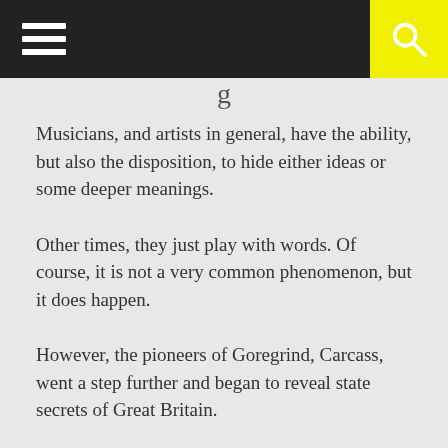Musicians, and artists in general, have the ability, but also the disposition, to hide either ideas or some deeper meanings.
Other times, they just play with words. Of course, it is not a very common phenomenon, but it does happen.
However, the pioneers of Goregrind, Carcass, went a step further and began to reveal state secrets of Great Britain.
This only happened on their live shows until 1992, that is, until their third album.
In fact, the lyrics that were written on the covers of their albums were mixed.